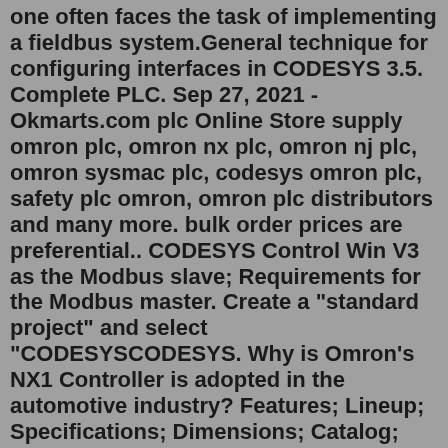one often faces the task of implementing a fieldbus system.General technique for configuring interfaces in CODESYS 3.5. Complete PLC. Sep 27, 2021 - Okmarts.com plc Online Store supply omron plc, omron nx plc, omron nj plc, omron sysmac plc, codesys omron plc, safety plc omron, omron plc distributors and many more. bulk order prices are preferential.. CODESYS Control Win V3 as the Modbus slave; Requirements for the Modbus master. Create a "standard project" and select "CODESYSCODESYS. Why is Omron’s NX1 Controller is adopted in the automotive industry? Features; Lineup; Specifications; Dimensions; Catalog; Catalog; Catalog Name Catalog Number [size] Last Update NX1 Data Sheet P130-E1-17 [1188KB] Apr 01, 2022. 20220401. NX1 Data Sheet: NX1 Catalog. Products. Automation Systems. Programmable Logic Controllers. Programmable Logic Controllers. Streamline your manufacturing process with advanced programmable logic controllers that put you fully in control of all aspects